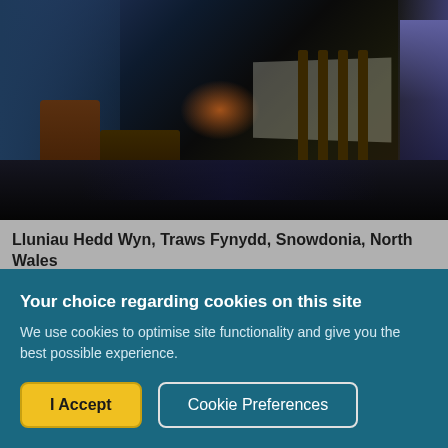[Figure (photo): Dark interior room photo — Lluniau Hedd Wyn, Traws Fynydd, Snowdonia, North Wales. A dimly lit traditional Welsh interior with wooden furniture, chairs, a table with white cloth, and a glowing fire in the background.]
Lluniau Hedd Wyn, Traws Fynydd, Snowdonia, North Wales
View Credits
Your choice regarding cookies on this site
We use cookies to optimise site functionality and give you the best possible experience.
I Accept
Cookie Preferences